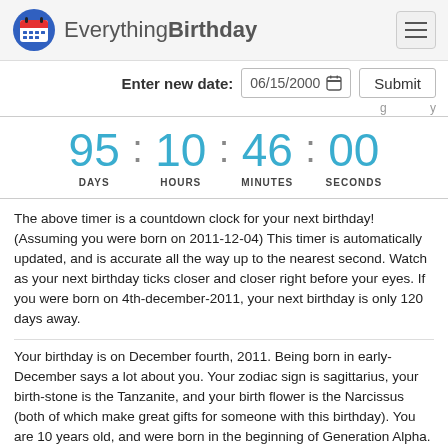Everything Birthday
Enter new date: 06/15/2000  Submit
[Figure (other): Countdown timer showing 95 DAYS : 10 HOURS : 46 MINUTES : 00 SECONDS]
The above timer is a countdown clock for your next birthday! (Assuming you were born on 2011-12-04) This timer is automatically updated, and is accurate all the way up to the nearest second. Watch as your next birthday ticks closer and closer right before your eyes. If you were born on 4th-december-2011, your next birthday is only 120 days away.
Your birthday is on December fourth, 2011. Being born in early-December says a lot about you. Your zodiac sign is sagittarius, your birth-stone is the Tanzanite, and your birth flower is the Narcissus (both of which make great gifts for someone with this birthday). You are 10 years old, and were born in the beginning of Generation Alpha. Which generation you are born into makes a huge impact on your life, click